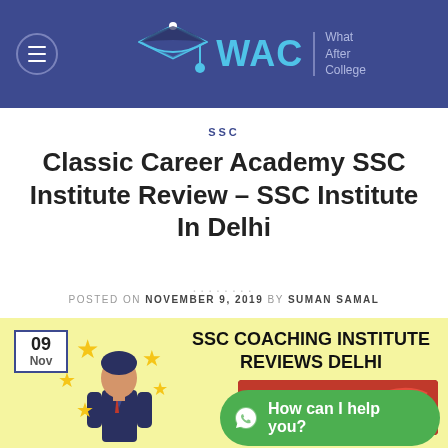[Figure (logo): WAC What After College website header with hamburger menu, graduation cap logo, WAC text in cyan, and tagline 'What After College']
SSC
Classic Career Academy SSC Institute Review – SSC Institute In Delhi
POSTED ON NOVEMBER 9, 2019 BY SUMAN SAMAL
[Figure (infographic): SSC Coaching Institute Reviews Delhi infographic with date badge 09 Nov, stars, person silhouette, Classic sign, and WhatsApp help button]